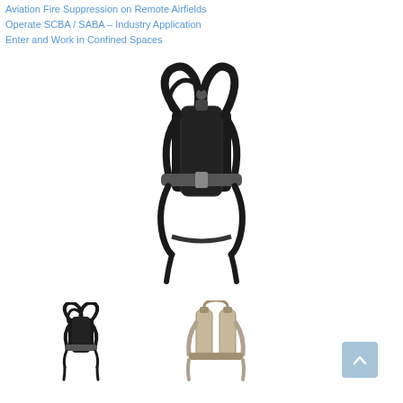Aviation Fire Suppression on Remote Airfields
Operate SCBA / SABA – Industry Application
Enter and Work in Confined Spaces
[Figure (photo): SCBA (Self-Contained Breathing Apparatus) unit shown from front view — black harness frame with shoulder straps, waist belt, and air cylinder mount. Straps hang down at bottom.]
[Figure (photo): Thumbnail of SCBA unit — black, same apparatus from similar front angle, smaller.]
[Figure (photo): Thumbnail of SCBA unit — light gray/beige color, alternate angle showing cylinder and harness.]